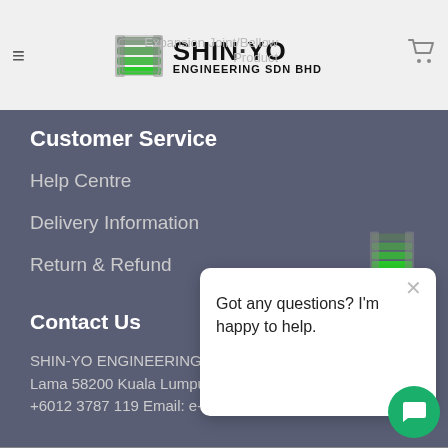Shin-Yo Engineering Sdn Bhd — Expansion Joint/Bellow Product
Customer Service
Help Centre
Delivery Information
Return & Refund
Contact Us
SHIN-YO ENGINEERING Jalan Mega Mendung Bandar Tasik Selatan Lama 58200 Kuala Lumpur. Tel: +603 7984 8401 / 03 HP: +6012 3787 119 Email: e-sales@shinyo-ecommerce
[Figure (screenshot): Chat popup with bot icon saying 'Got any questions? I'm happy to help.' with a green chat button and close X button]